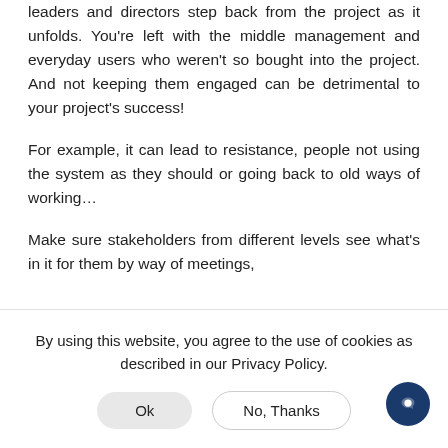leaders and directors step back from the project as it unfolds. You're left with the middle management and everyday users who weren't so bought into the project. And not keeping them engaged can be detrimental to your project's success!
For example, it can lead to resistance, people not using the system as they should or going back to old ways of working…
Make sure stakeholders from different levels see what's in it for them by way of meetings,
By using this website, you agree to the use of cookies as described in our Privacy Policy.